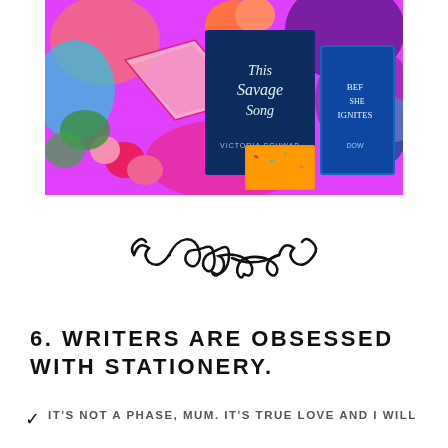[Figure (photo): Colorful flat-lay photo showing books including 'This Savage Song' by Victoria Schwab, surrounded by bright flowers, glittery notebooks, and stationery items on a vibrant patterned background.]
[Figure (illustration): Decorative swirl/flourish divider ornament in black, featuring curling scroll designs with a looped center motif.]
6. WRITERS ARE OBSESSED WITH STATIONERY.
IT'S NOT A PHASE, MUM. IT'S TRUE LOVE AND I WILL